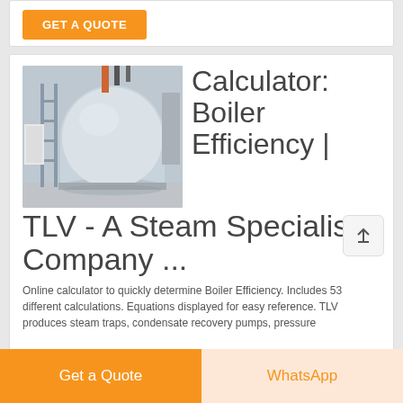GET A QUOTE
[Figure (photo): Industrial boiler in a building — large cylindrical blue/white boiler with scaffolding and pipes visible]
Calculator: Boiler Efficiency | TLV - A Steam Specialist Company ...
Online calculator to quickly determine Boiler Efficiency. Includes 53 different calculations. Equations displayed for easy reference. TLV produces steam traps, condensate recovery pumps, pressure
Get a Quote
WhatsApp